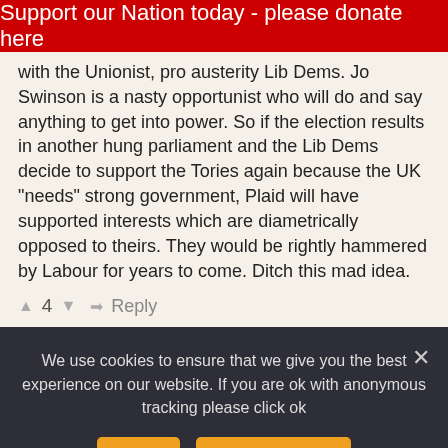Support our Nation today - please donate here
with the Unionist, pro austerity Lib Dems. Jo Swinson is a nasty opportunist who will do and say anything to get into power. So if the election results in another hung parliament and the Lib Dems decide to support the Tories again because the UK "needs" strong government, Plaid will have supported interests which are diametrically opposed to theirs. They would be rightly hammered by Labour for years to come. Ditch this mad idea.
▲ 4 ▼   ➤ Reply
We use cookies to ensure that we give you the best experience on our website. If you are ok with anonymous tracking please click ok
Ok   Privacy policy